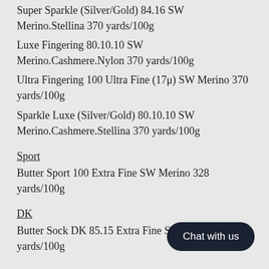Super Sparkle (Silver/Gold) 84.16 SW Merino.Stellina 370 yards/100g
Luxe Fingering 80.10.10 SW Merino.Cashmere.Nylon 370 yards/100g
Ultra Fingering 100 Ultra Fine (17μ) SW Merino 370 yards/100g
Sparkle Luxe (Silver/Gold) 80.10.10 SW Merino.Cashmere.Stellina 370 yards/100g
Sport
Butter Sport 100 Extra Fine SW Merino 328 yards/100g
DK
Butter Sock DK 85.15 Extra Fine SW Merino 246 yards/100g